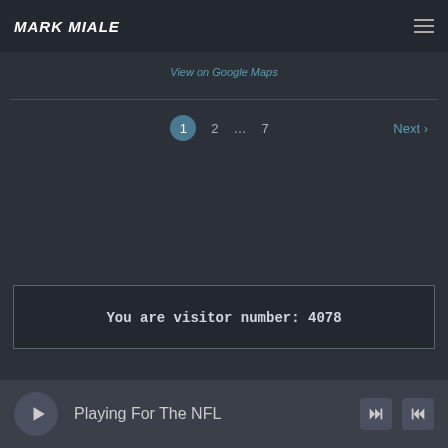MARK MIALE
View on Google Maps
1  2  ...  7  Next ›
You are visitor number: 4078
Playing For The NFL